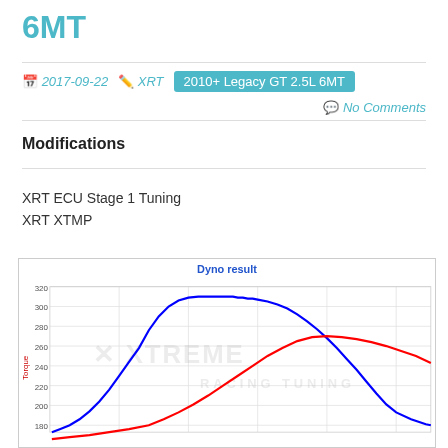6MT
2017-09-22   XRT   2010+ Legacy GT 2.5L 6MT
No Comments
Modifications
XRT ECU Stage 1 Tuning
XRT XTMP
[Figure (continuous-plot): Dyno result chart showing two curves (blue and red) representing torque vs RPM. Blue curve peaks around 310-315 at mid-RPM then declines. Red curve rises more gradually, peaks around 260, then slightly declines. Y-axis ranges from about 160 to 320. Watermark reads XTREME RACING TUNING.]